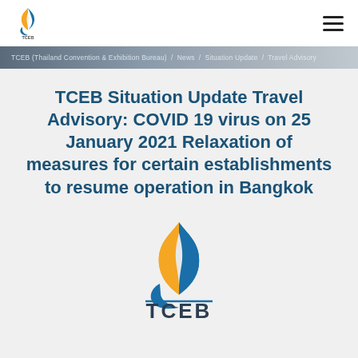[Figure (logo): TCEB Thailand Convention & Exhibition Bureau small logo in top navigation bar]
TCEB (Thailand Convention & Exhibition Bureau) – breadcrumb navigation bar
TCEB Situation Update Travel Advisory: COVID 19 virus on 25 January 2021 Relaxation of measures for certain establishments to resume operation in Bangkok
[Figure (logo): Large TCEB Thailand Convention & Exhibition Bureau logo with flame icon in gold and blue colors, text TCEB below]